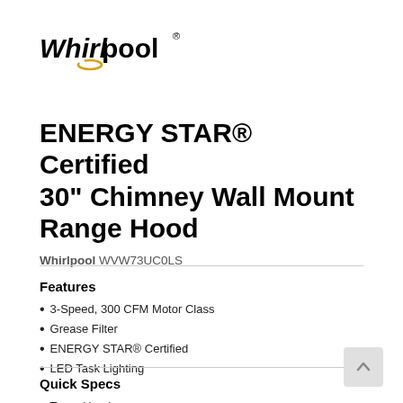[Figure (logo): Whirlpool logo with stylized italic text and gold swirl accent, registered trademark symbol]
ENERGY STAR® Certified 30" Chimney Wall Mount Range Hood
Whirlpool WVW73UC0LS
Features
3-Speed, 300 CFM Motor Class
Grease Filter
ENERGY STAR® Certified
LED Task Lighting
Quick Specs
Type: Hood